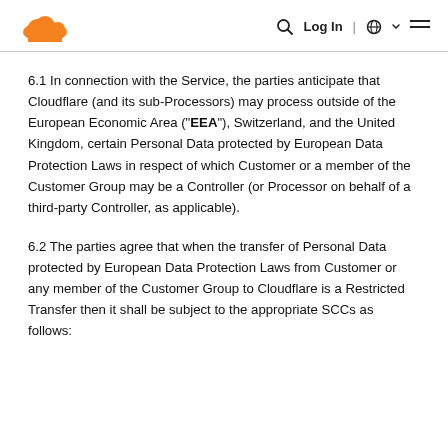Cloudflare logo, Search, Log In, Globe, Menu
6.1 In connection with the Service, the parties anticipate that Cloudflare (and its sub-Processors) may process outside of the European Economic Area (“EEA”), Switzerland, and the United Kingdom, certain Personal Data protected by European Data Protection Laws in respect of which Customer or a member of the Customer Group may be a Controller (or Processor on behalf of a third-party Controller, as applicable).
6.2 The parties agree that when the transfer of Personal Data protected by European Data Protection Laws from Customer or any member of the Customer Group to Cloudflare is a Restricted Transfer then it shall be subject to the appropriate SCCs as follows: